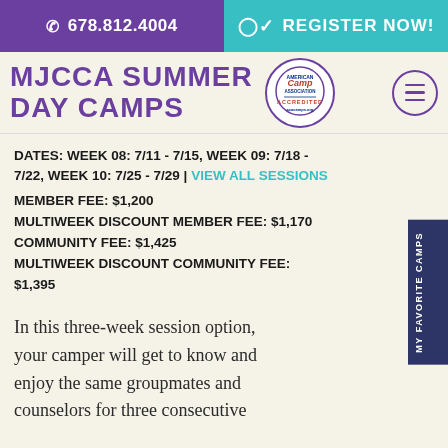678.812.4004  |  REGISTER NOW!
MJCCA SUMMER DAY CAMPS
DATES: WEEK 08: 7/11 - 7/15, WEEK 09: 7/18 - 7/22, WEEK 10: 7/25 - 7/29  VIEW ALL SESSIONS
MEMBER FEE: $1,200
MULTIWEEK DISCOUNT MEMBER FEE: $1,170
COMMUNITY FEE: $1,425
MULTIWEEK DISCOUNT COMMUNITY FEE: $1,395
In this three-week session option, your camper will get to know and enjoy the same groupmates and counselors for three consecutive